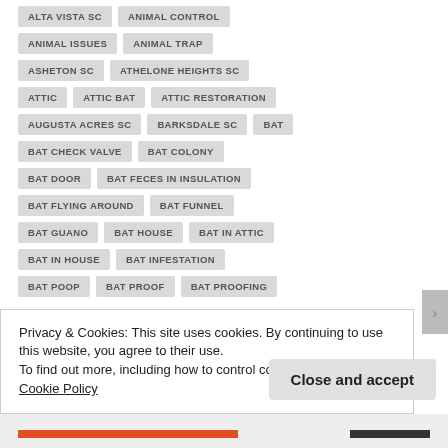ALTA VISTA SC
ANIMAL CONTROL
ANIMAL ISSUES
ANIMAL TRAP
ASHETON SC
ATHELONE HEIGHTS SC
ATTIC
ATTIC BAT
ATTIC RESTORATION
AUGUSTA ACRES SC
BARKSDALE SC
BAT
BAT CHECK VALVE
BAT COLONY
BAT DOOR
BAT FECES IN INSULATION
BAT FLYING AROUND
BAT FUNNEL
BAT GUANO
BAT HOUSE
BAT IN ATTIC
BAT IN HOUSE
BAT INFESTATION
BAT POOP
BAT PROOF
BAT PROOFING
Privacy & Cookies: This site uses cookies. By continuing to use this website, you agree to their use.
To find out more, including how to control cookies, see here: Cookie Policy
Close and accept